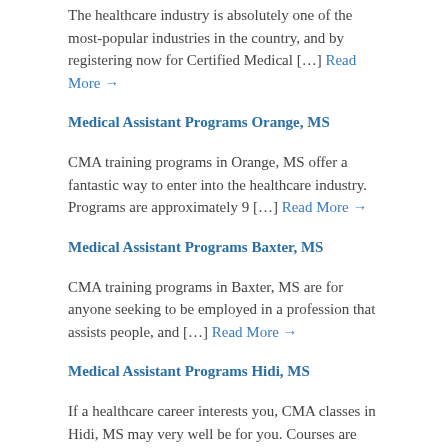The healthcare industry is absolutely one of the most-popular industries in the country, and by registering now for Certified Medical […] Read More →
Medical Assistant Programs Orange, MS
CMA training programs in Orange, MS offer a fantastic way to enter into the healthcare industry. Programs are approximately 9 […] Read More →
Medical Assistant Programs Baxter, MS
CMA training programs in Baxter, MS are for anyone seeking to be employed in a profession that assists people, and […] Read More →
Medical Assistant Programs Hidi, MS
If a healthcare career interests you, CMA classes in Hidi, MS may very well be for you. Courses are anywhere […] Read More →
Medical Assistant Programs Rio, MS
For those of assistant…